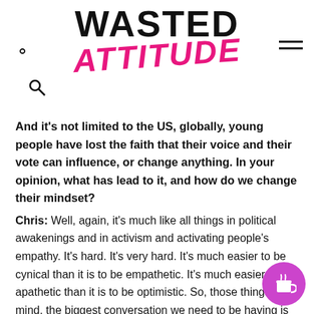WASTED ATTITUDE
And it's not limited to the US, globally, young people have lost the faith that their voice and their vote can influence, or change anything. In your opinion, what has lead to it, and how do we change their mindset?
Chris: Well, again, it's much like all things in political awakenings and in activism and activating people's empathy. It's hard. It's very hard. It's much easier to be cynical than it is to be empathetic. It's much easier to be apathetic than it is to be optimistic. So, those things in mind, the biggest conversation we need to be having is one of privilege.
When you abstain from voting, you are using your privilege to d... because there are people in the most marginalized of comm... – the immigrant, the refugee, the women, people of color, the... folks that are hurting on levels that we cannot imagine. Right now,